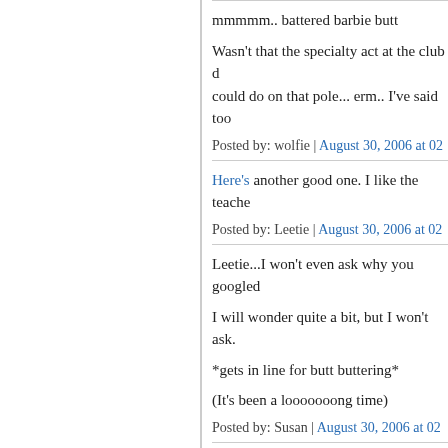mmmmm.. battered barbie butt
Wasn't that the specialty act at the club d... could do on that pole... erm.. I've said too
Posted by: wolfie | August 30, 2006 at 02
Here's another good one. I like the teache
Posted by: Leetie | August 30, 2006 at 02
Leetie...I won't even ask why you googled

I will wonder quite a bit, but I won't ask.

*gets in line for butt buttering*

(It's been a looooooong time)
Posted by: Susan | August 30, 2006 at 02